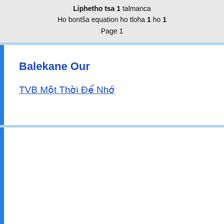Liphetho tsa 1 talmanca Ho bontša equation ho tloha 1 ho 1 Page 1
Balekane Our
TVB Một Thời Để Nhớ